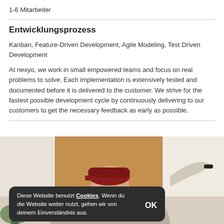1-6 Mitarbeiter
Entwicklungsprozess
Kanban, Feature-Driven Development, Agile Modeling, Test Driven Development
At nexyo, we work in small empowered teams and focus on real problems to solve. Each implementation is extensively tested and documented before it is delivered to the customer. We strive for the fastest possible development cycle by continuously delivering to our customers to get the necessary feedback as early as possible.
[Figure (photo): Photo of a person wearing a red cap, pointing at a cork board on a wall, partially obscured by a dark cookie consent banner overlay.]
Diese Website benutzt Cookies. Wenn du die Website weiter nutzt, gehen wir von deinem Einverständnis aus.